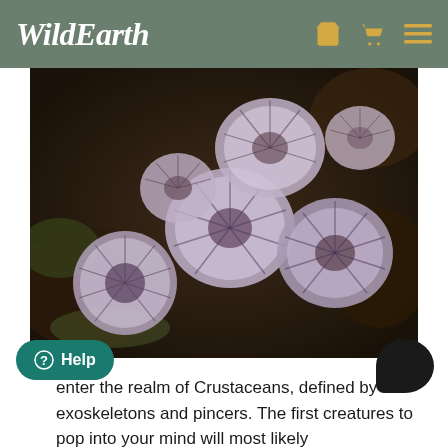WildEarth
[Figure (photo): Cluster of sea creatures (tube worms or anemones) with white and purple fan-like radiating tentacles attached to a rocky substrate, photographed underwater.]
enter the realm of Crustaceans, defined by exoskeletons and pincers. The first creatures to pop into your mind will most likely